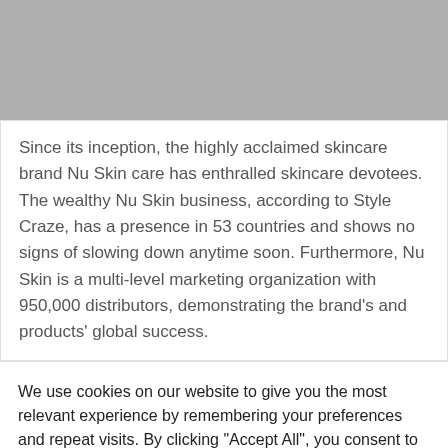[Figure (photo): Gray placeholder image area at the top of the page]
Since its inception, the highly acclaimed skincare brand Nu Skin care has enthralled skincare devotees. The wealthy Nu Skin business, according to Style Craze, has a presence in 53 countries and shows no signs of slowing down anytime soon. Furthermore, Nu Skin is a multi-level marketing organization with 950,000 distributors, demonstrating the brand's and products' global success.
We use cookies on our website to give you the most relevant experience by remembering your preferences and repeat visits. By clicking "Accept All", you consent to the use of ALL the cookies. However, you may visit "Cookie Settings" to provide a controlled consent.
Cookie Settings | Accept All | Reject All